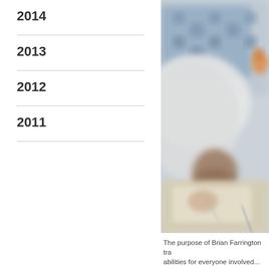2014
2013
2012
2011
[Figure (photo): Blurred close-up photo of a student writing or working at a desk, with orange scissors visible in the top right. The image is taken from above and slightly out of focus.]
The purpose of Brian Farrington tra
abilities for everyone involved...